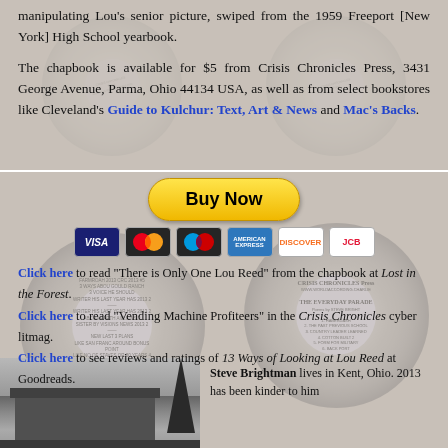manipulating Lou's senior picture, swiped from the 1959 Freeport [New York] High School yearbook.
The chapbook is available for $5 from Crisis Chronicles Press, 3431 George Avenue, Parma, Ohio 44134 USA, as well as from select bookstores like Cleveland's Guide to Kulchur: Text, Art & News and Mac's Backs.
[Figure (other): Buy Now PayPal button with payment method icons (Visa, Mastercard, Maestro, American Express, Discover, JCB)]
Click here to read "There is Only One Lou Reed" from the chapbook at Lost in the Forest.
Click here to read "Vending Machine Profiteers" in the Crisis Chronicles cyber litmag.
Click here to see reviews and ratings of 13 Ways of Looking at Lou Reed at Goodreads.
[Figure (photo): Black and white photograph of a building (likely a school or public building) with trees]
Steve Brightman lives in Kent, Ohio. 2013 has been kinder to him